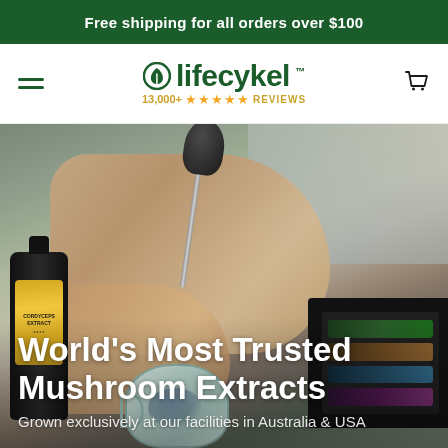Free shipping for all orders over $100
[Figure (logo): Lifecykel logo with circular leaf icon, brand name in green, and '13,000+ ★★★★★ REVIEWS' in gold below]
[Figure (photo): Hero image showing hands holding a dropper pipette above a dark bottle, with a ceramic mug and a black gift box containing multiple product bottles in background]
World's Most Trusted Mushroom Extracts
Grown exclusively at our facilities in Australia & USA